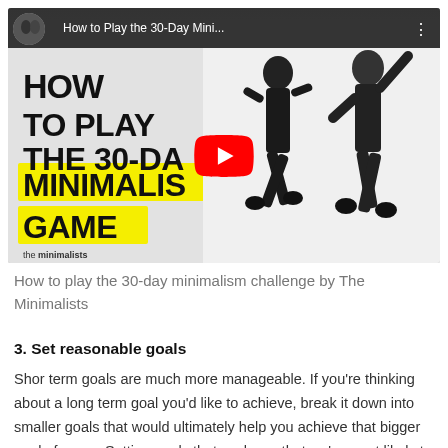[Figure (screenshot): YouTube video thumbnail for 'How to Play the 30-Day Mini...' by The Minimalists. Shows two men jumping, with bold text 'HOW TO PLAY THE 30-DAY MINIMALIST GAME' with yellow highlights. Red YouTube play button overlay. Small channel avatar and title bar at top.]
How to play the 30-day minimalism challenge by The Minimalists
3. Set reasonable goals
Shor term goals are much more manageable. If you're thinking about a long term goal you'd like to achieve, break it down into smaller goals that would ultimately help you achieve that bigger goal of yours. Setting goals that we know that we're most likely to achieve them